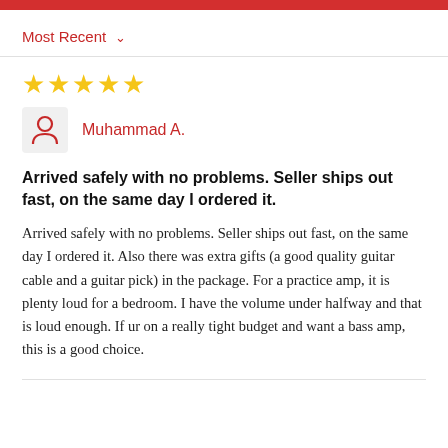Most Recent ▾
[Figure (other): Five yellow star rating icons]
Muhammad A.
Arrived safely with no problems. Seller ships out fast, on the same day I ordered it.
Arrived safely with no problems. Seller ships out fast, on the same day I ordered it. Also there was extra gifts (a good quality guitar cable and a guitar pick) in the package. For a practice amp, it is plenty loud for a bedroom. I have the volume under halfway and that is loud enough. If ur on a really tight budget and want a bass amp, this is a good choice.